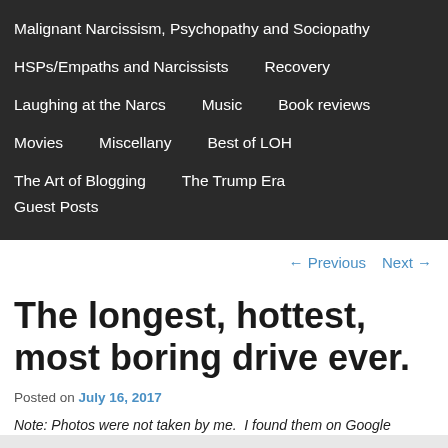Malignant Narcissism, Psychopathy and Sociopathy
HSPs/Empaths and Narcissists
Recovery
Laughing at the Narcs
Music
Book reviews
Movies
Miscellany
Best of LOH
The Art of Blogging
The Trump Era
Guest Posts
← Previous   Next →
The longest, hottest, most boring drive ever.
Posted on July 16, 2017
Note: Photos were not taken by me.  I found them on Google